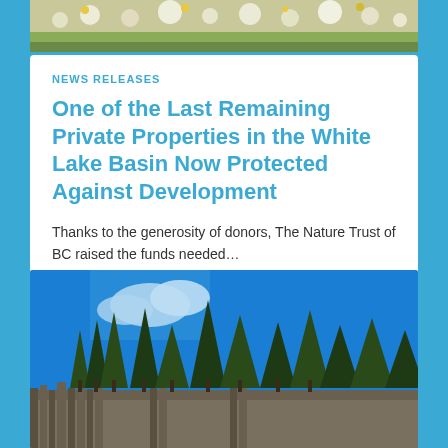[Figure (photo): Top photo of wildflowers and meadow vegetation]
NEWS RELEASES
One of the Last Remaining Private Properties in the White Lake Basin Now Protected Against Development
Thanks to the generosity of donors, The Nature Trust of BC raised the funds needed...
LEARN MORE
[Figure (photo): Photo of tall conifer trees against a bright blue sky with rock formations visible at base]